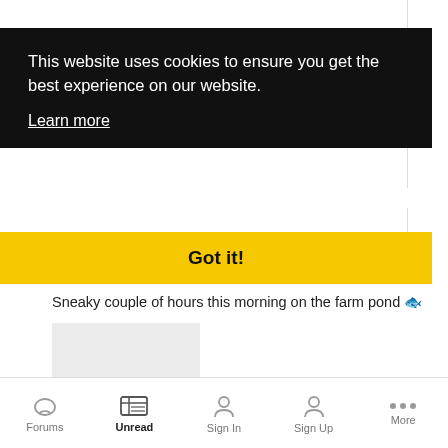This website uses cookies to ensure you get the best experience on our website.
Learn more
Got it!
Sneaky couple of hours this morning on the farm pond 🐟
[Figure (photo): Placeholder grey image thumbnail for a post photo]
August 7
Forums  Unread  Sign In  Sign Up  More